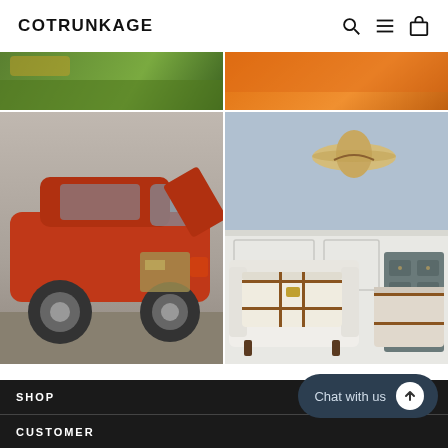COTRUNKAGE
[Figure (photo): Two-column image grid showing a green/nature crop top-left, orange crop top-right, red SUV with open trunk bottom-left, and interior room with white armchair and vintage trunk bottom-right]
SHOP
CUSTOMER
Chat with us